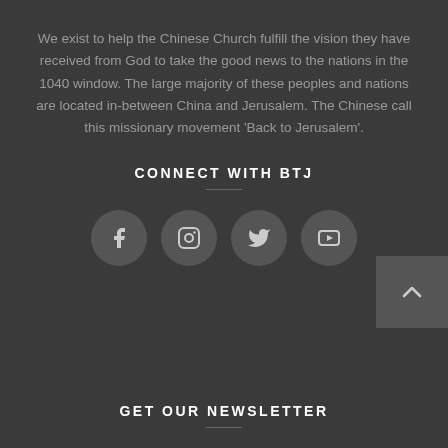We exist to help the Chinese Church fulfill the vision they have received from God to take the good news to the nations in the 1040 window. The large majority of these peoples and nations are located in-between China and Jerusalem. The Chinese call this missionary movement 'Back to Jerusalem'.
CONNECT WITH BTJ
[Figure (infographic): Four social media icon circles: Facebook, Instagram, Twitter, YouTube]
[Figure (other): Back to top button with upward chevron arrow]
GET OUR NEWSLETTER